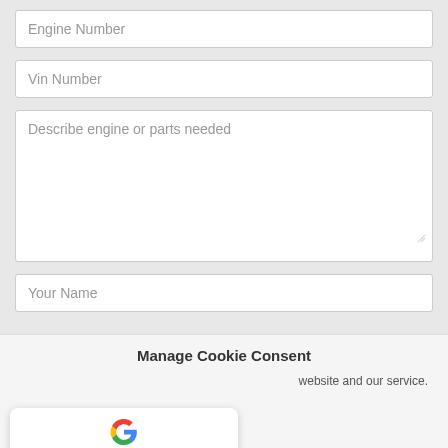Engine Number
Vin Number
Describe engine or parts needed
Your Name
Manage Cookie Consent
website and our service.
4.7 Based on 271 reviews
Accept
SHARES